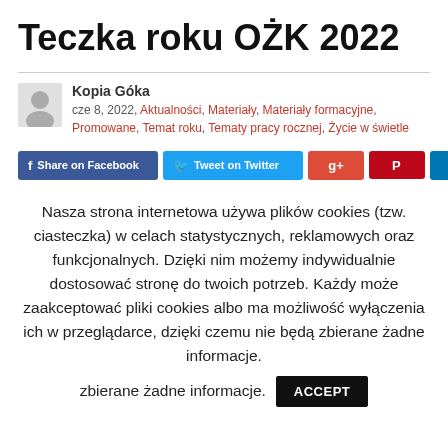Teczka roku OŻK 2022
Kopia Góka
cze 8, 2022, Aktualności, Materiały, Materiały formacyjne, Promowane, Temat roku, Tematy pracy rocznej, Życie w świetle
[Figure (other): Social sharing buttons: Share on Facebook (blue), Tweet on Twitter (light blue), Google+ (red), Pinterest (dark red), LinkedIn (blue)]
Nasza strona internetowa używa plików cookies (tzw. ciasteczka) w celach statystycznych, reklamowych oraz funkcjonalnych. Dzięki nim możemy indywidualnie dostosować stronę do twoich potrzeb. Każdy może zaakceptować pliki cookies albo ma możliwość wyłączenia ich w przeglądarce, dzięki czemu nie będą zbierane żadne informacje. ACCEPT